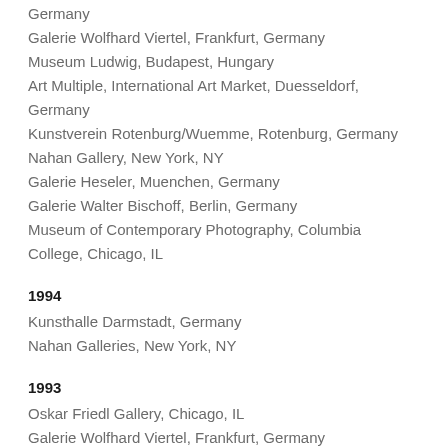Germany
Galerie Wolfhard Viertel, Frankfurt, Germany
Museum Ludwig, Budapest, Hungary
Art Multiple, International Art Market, Duesseldorf, Germany
Kunstverein Rotenburg/Wuemme, Rotenburg, Germany
Nahan Gallery, New York, NY
Galerie Heseler, Muenchen, Germany
Galerie Walter Bischoff, Berlin, Germany
Museum of Contemporary Photography, Columbia College, Chicago, IL
1994
Kunsthalle Darmstadt, Germany
Nahan Galleries, New York, NY
1993
Oskar Friedl Gallery, Chicago, IL
Galerie Wolfhard Viertel, Frankfurt, Germany